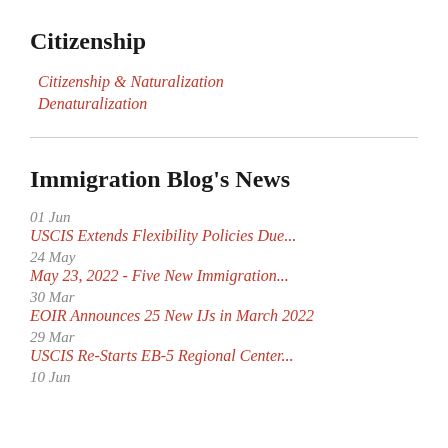Citizenship
Citizenship & Naturalization
Denaturalization
Immigration Blog's News
01 Jun
USCIS Extends Flexibility Policies Due...
24 May
May 23, 2022 - Five New Immigration...
30 Mar
EOIR Announces 25 New IJs in March 2022
29 Mar
USCIS Re-Starts EB-5 Regional Center...
10 Jun